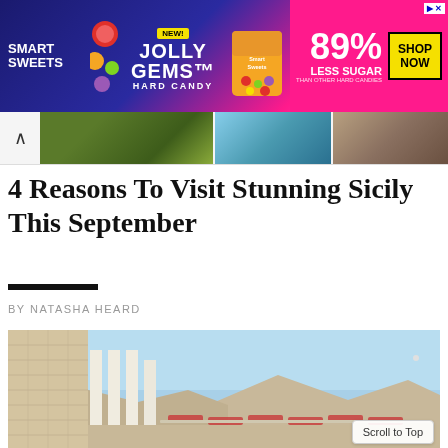[Figure (other): Smart Sweets Jolly Gems Hard Candy advertisement banner. Blue and pink background with candy graphics. Text: SMART SWEETS, NEW!, JOLLY GEMS, HARD CANDY, 89% LESS SUGAR THAN OTHER HARD CANDIES, SHOP NOW]
[Figure (photo): Navigation strip showing back arrow chevron and three thumbnail images of travel destinations including green hedges, water/seascape, and stone architecture]
4 Reasons To Visit Stunning Sicily This September
BY NATASHA HEARD
[Figure (photo): Photograph of a Sicilian building with stone facade, white rendered columns or arches, and terrace with sun loungers under blue sky and mountains in background]
Scroll to Top